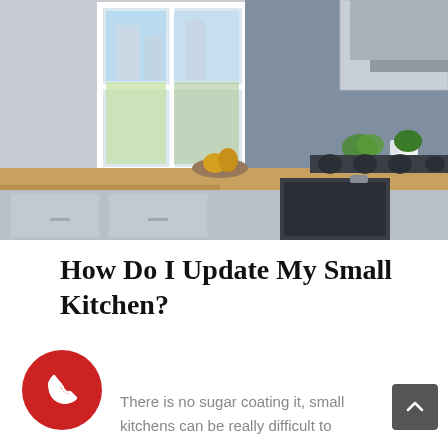[Figure (photo): A modern small kitchen with gray cabinets, wooden countertops, large windows letting in natural light, a gas stove, oven, and small plants on the windowsill.]
How Do I Update My Small Kitchen?
[Figure (other): Red circular phone/call button icon with white telephone handset symbol]
There is no sugar coating it, small kitchens can be really difficult to
[Figure (other): Dark gray square scroll-to-top button with upward chevron arrow]